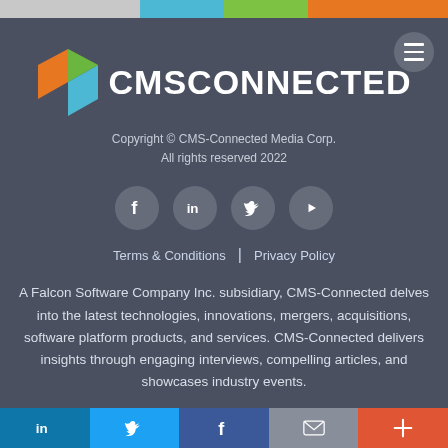[Figure (logo): CMS Connected logo with colorful 3D hexagon icon and white bold text CMS CONNECTED on dark gray background]
Copyright © CMS-Connected Media Corp.
All rights reserved 2022
[Figure (infographic): Four social media icon circles: Facebook, LinkedIn, Twitter, YouTube]
Terms & Conditions | Privacy Policy
A Falcon Software Company Inc. subsidiary, CMS-Connected delves into the latest technologies, innovations, mergers, acquisitions, software platform products, and services. CMS-Connected delivers insights through engaging interviews, compelling articles, and showcases industry events.
LinkedIn | Twitter | Facebook | Email | More